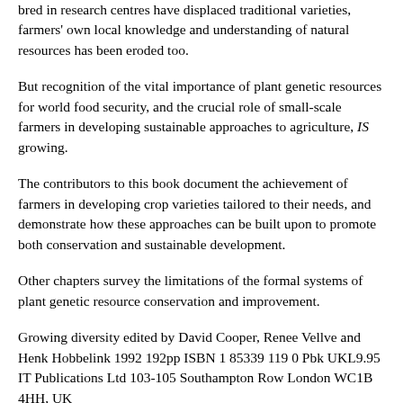bred in research centres have displaced traditional varieties, farmers' own local knowledge and understanding of natural resources has been eroded too.
But recognition of the vital importance of plant genetic resources for world food security, and the crucial role of small-scale farmers in developing sustainable approaches to agriculture, IS growing.
The contributors to this book document the achievement of farmers in developing crop varieties tailored to their needs, and demonstrate how these approaches can be built upon to promote both conservation and sustainable development.
Other chapters survey the limitations of the formal systems of plant genetic resource conservation and improvement.
Growing diversity edited by David Cooper, Renee Vellve and Henk Hobbelink 1992 192pp ISBN 1 85339 119 0 Pbk UKL9.95 IT Publications Ltd 103-105 Southampton Row London WC1B 4HH, UK